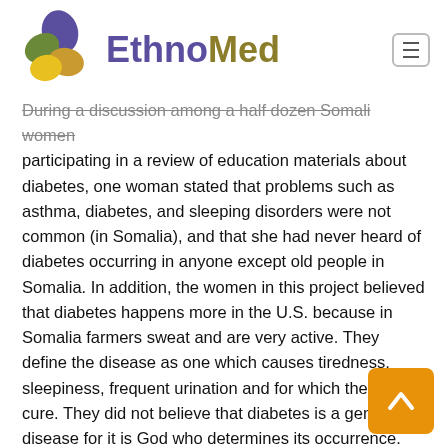EthnoMed
During a discussion among a half dozen Somali women participating in a review of education materials about diabetes, one woman stated that problems such as asthma, diabetes, and sleeping disorders were not common (in Somalia), and that she had never heard of diabetes occurring in anyone except old people in Somalia. In addition, the women in this project believed that diabetes happens more in the U.S. because in Somalia farmers sweat and are very active. They define the disease as one which causes tiredness, sleepiness, frequent urination and for which there is no cure. They did not believe that diabetes is a genetic disease for it is God who determines its occurrence. The women understood that the diabetes medicine comes from the doctors, but that God dictates whether or not the medicine will help. Most of the women knew what type of